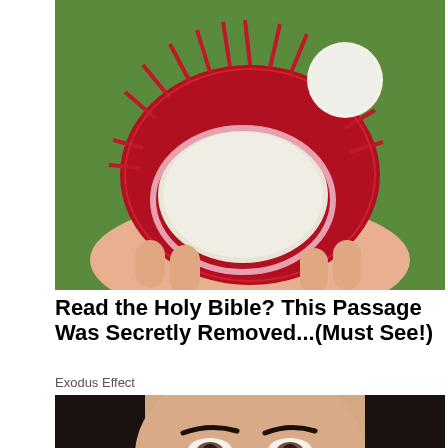[Figure (photo): A hand holding an open rambutan fruit with red spiky exterior and white interior flesh, with a round white seed visible, outdoors with green background.]
Read the Holy Bible? This Passage Was Secretly Removed...(Must See!)
Exodus Effect
[Figure (photo): A woman with dark hair using a toothbrush on the side of her nose, close-up face shot against a beige background.]